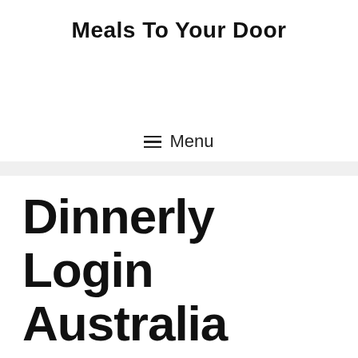Meals To Your Door
≡ Menu
Dinnerly Login Australia
The Full Guide to